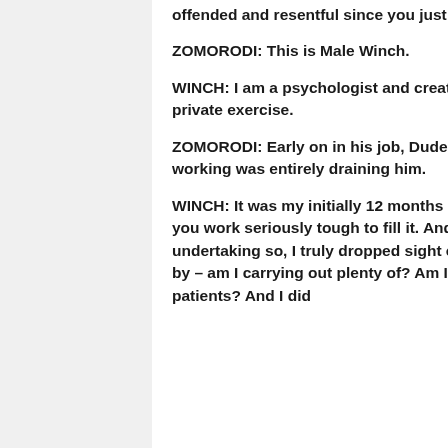offended and resentful since you just experience drained.
ZOMORODI: This is Male Winch.
WINCH: I am a psychologist and creator and speaker. And I compose books, and I have a private exercise.
ZOMORODI: Early on in his job, Dude had an incident that helped him see that the way he was working was entirely draining him.
WINCH: It was my initially 12 months of my observe. And when you are setting up a exercise, you work seriously tough to fill it. And you sort of do whatsoever you require to do. And in undertaking so, I truly dropped sight of how a lot I was accomplishing and how troubled I was by – am I carrying out plenty of? Am I undertaking a very good sufficient position with my patients? And I did